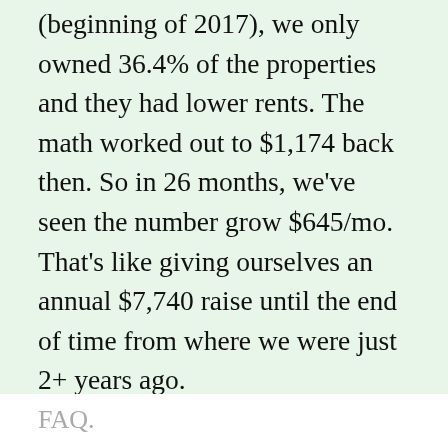(beginning of 2017), we only owned 36.4% of the properties and they had lower rents. The math worked out to $1,174 back then. So in 26 months, we've seen the number grow $645/mo. That's like giving ourselves an annual $7,740 raise until the end of time from where we were just 2+ years ago.
As the years march on, the ratio will grow to 100% of the $3,325 monthly inflation-resistant rent. That's what gets us to that annual $40,000 income I mentioned in the
FAQ.